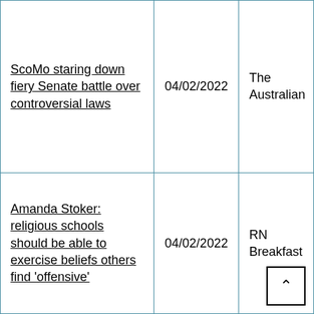| Article | Date | Source |
| --- | --- | --- |
| ScoMo staring down fiery Senate battle over controversial laws | 04/02/2022 | The Australian |
| Amanda Stoker: religious schools should be able to exercise beliefs others find 'offensive' | 04/02/2022 | RN Breakfast |